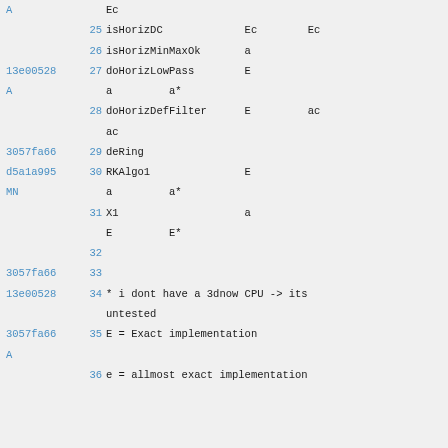A    Ec
25   isHorizDC     Ec   Ec
26   isHorizMinMaxOk    a
13e00528  27   doHorizLowPass   E
A         a        a*
28   doHorizDefFilter   E    ac
ac
3057fa66  29   deRing
d5a1a995  30   RKAlgo1    E
MN        a        a*
31   X1    a
E        E*
32
3057fa66  33
13e00528  34   * i dont have a 3dnow CPU -> its untested
3057fa66  35   E = Exact implementation
A
36   e = allmost exact implementation